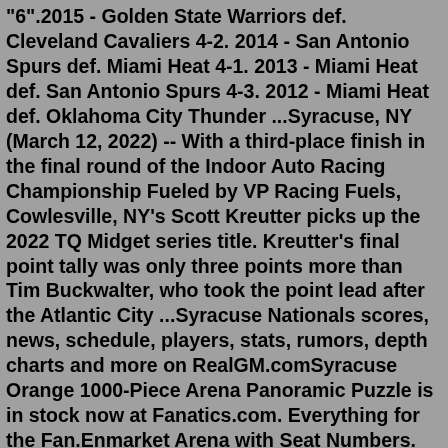"6".2015 - Golden State Warriors def. Cleveland Cavaliers 4-2. 2014 - San Antonio Spurs def. Miami Heat 4-1. 2013 - Miami Heat def. San Antonio Spurs 4-3. 2012 - Miami Heat def. Oklahoma City Thunder ...Syracuse, NY (March 12, 2022) -- With a third-place finish in the final round of the Indoor Auto Racing Championship Fueled by VP Racing Fuels, Cowlesville, NY's Scott Kreutter picks up the 2022 TQ Midget series title. Kreutter's final point tally was only three points more than Tim Buckwalter, who took the point lead after the Atlantic City ...Syracuse Nationals scores, news, schedule, players, stats, rumors, depth charts and more on RealGM.comSyracuse Orange 1000-Piece Arena Panoramic Puzzle is in stock now at Fanatics.com. Everything for the Fan.Enmarket Arena with Seat Numbers. The standard sports stadium is set up so that seat number 1 is closer to the preceding section. For example seat 1 in section "5" would be on the aisle next to section "4" and the highest seat number in section "5" would be on the aisle next to section